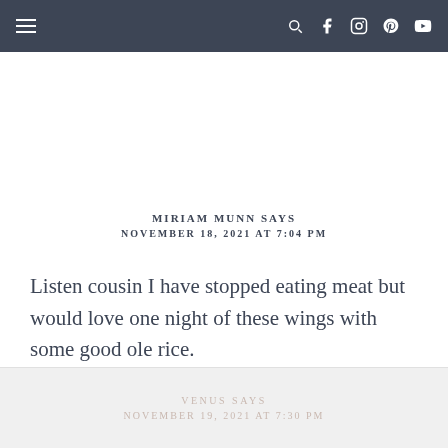Navigation bar with hamburger menu and social icons
MIRIAM MUNN SAYS
NOVEMBER 18, 2021 AT 7:04 PM
Listen cousin I have stopped eating meat but would love one night of these wings with some good ole rice.
REPLY
VENUS SAYS
NOVEMBER 19, 2021 AT 7:30 PM